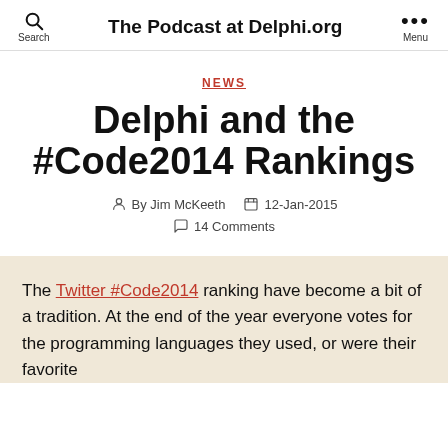The Podcast at Delphi.org
NEWS
Delphi and the #Code2014 Rankings
By Jim McKeeth  12-Jan-2015  14 Comments
The Twitter #Code2014 ranking have become a bit of a tradition. At the end of the year everyone votes for the programming languages they used, or were their favorite